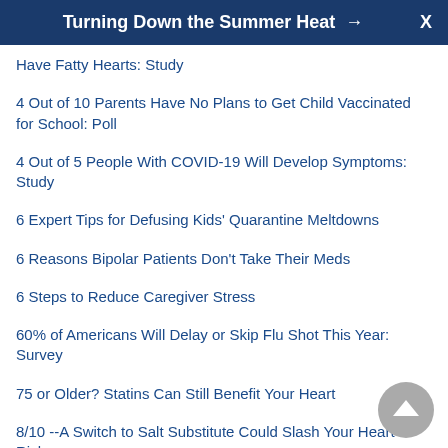Turning Down the Summer Heat →  X
Have Fatty Hearts: Study
4 Out of 10 Parents Have No Plans to Get Child Vaccinated for School: Poll
4 Out of 5 People With COVID-19 Will Develop Symptoms: Study
6 Expert Tips for Defusing Kids' Quarantine Meltdowns
6 Reasons Bipolar Patients Don't Take Their Meds
6 Steps to Reduce Caregiver Stress
60% of Americans Will Delay or Skip Flu Shot This Year: Survey
75 or Older? Statins Can Still Benefit Your Heart
8/10 --A Switch to Salt Substitute Could Slash Your Heart Risks